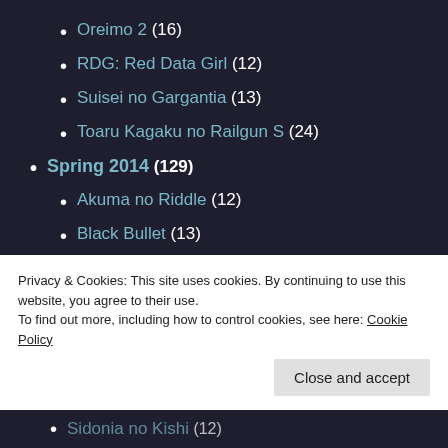Oreimo 2 (16)
RDG: Red Data Girl (12)
Suisei no Gargantia (13)
Toaru Kagaku no Railgun S (24)
Spring 2014 (129)
Akuma no Riddle (12)
Black Bullet (13)
Captain Earth (1)
Gokukoku no Brynhildr (13)
Hitsugi no Chaika (12)
Mahouka Koukou no Rettousei (14)
Privacy & Cookies: This site uses cookies. By continuing to use this website, you agree to their use.
To find out more, including how to control cookies, see here: Cookie Policy
Sidonia no Kishi (12)